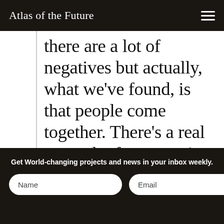Atlas of the Future
there are a lot of negatives but actually, what we've found, is that people come together. There's a real strength of community, people supporting one another. We've always had that in our network anyway but during the pandemic, it
Get World-changing projects and news in your inbox weekly.